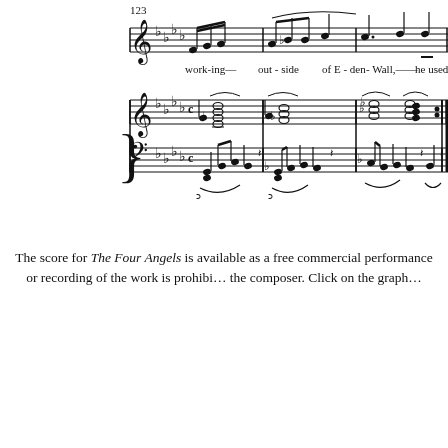[Figure (illustration): Portion of a musical score showing measure 123 onwards with treble clef vocal line (lyrics: 'working- out-side of E-den - Wall,— he used the'), piano treble clef staff with chords, and piano bass clef staff with bass notes and ornaments, in a flat key signature.]
The score for The Four Angels is available as a free commercial performance or recording of the work is prohibited the composer. Click on the graph
[Figure (illustration): Open book / score icon]
The Four Angels